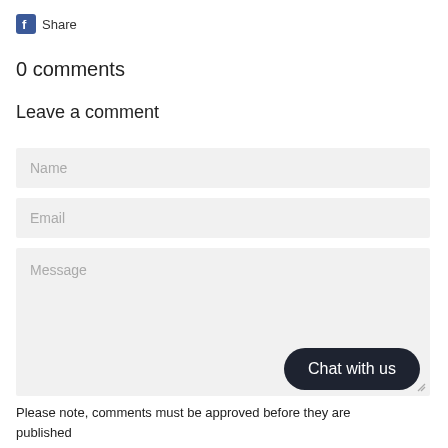[Figure (logo): Facebook logo icon (f in square) followed by 'Share' text]
0 comments
Leave a comment
Name
Email
Message
[Figure (screenshot): Chat with us button (dark rounded pill shape)]
Please note, comments must be approved before they are published